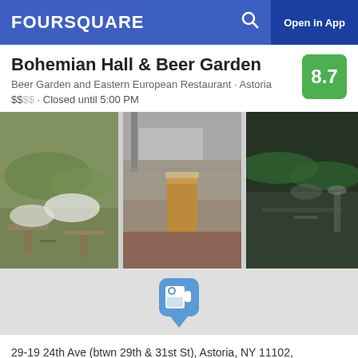FOURSQUARE  Open in App
Bohemian Hall & Beer Garden
Beer Garden and Eastern European Restaurant · Astoria
$$$$ · Closed until 5:00 PM
[Figure (photo): Outdoor beer garden photos: patio with umbrellas and tables, beer glass on table, evening garden view, partial fourth photo]
[Figure (logo): Foursquare venue pin icon with beer mug graphic]
29-19 24th Ave (btwn 29th & 31st St), Astoria, NY 11102, United States
Directions
View Menu